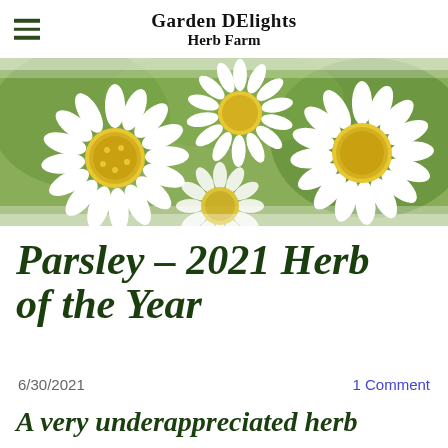Garden DElights Herb Farm
[Figure (photo): Close-up photograph of white daisy-like flowers (feverfew) with yellow centers, against a blurred green background]
Parsley - 2021 Herb of the Year
6/30/2021
1 Comment
A very underappreciated herb